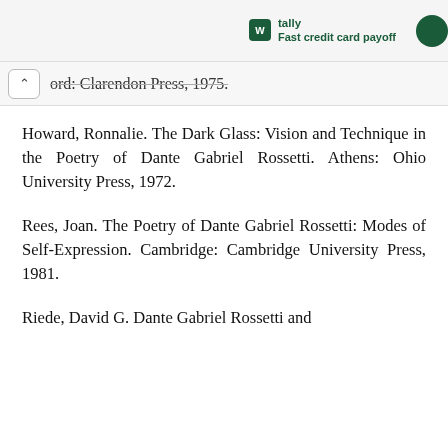tally Fast credit card payoff
ord: Clarendon Press, 1975.
Howard, Ronnalie. The Dark Glass: Vision and Technique in the Poetry of Dante Gabriel Rossetti. Athens: Ohio University Press, 1972.
Rees, Joan. The Poetry of Dante Gabriel Rossetti: Modes of Self-Expression. Cambridge: Cambridge University Press, 1981.
Riede, David G. Dante Gabriel Rossetti and